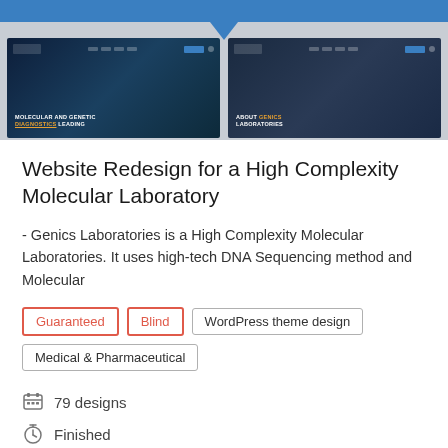[Figure (screenshot): Two website screenshot thumbnails showing a dark-themed molecular laboratory website. Left thumbnail shows 'Molecular and Genetic Diagnostics Leading' text. Right thumbnail shows 'About Genics Laboratories' text.]
Website Redesign for a High Complexity Molecular Laboratory
- Genics Laboratories is a High Complexity Molecular Laboratories. It uses high-tech DNA Sequencing method and Molecular
Guaranteed
Blind
WordPress theme design
Medical & Pharmaceutical
79 designs
Finished